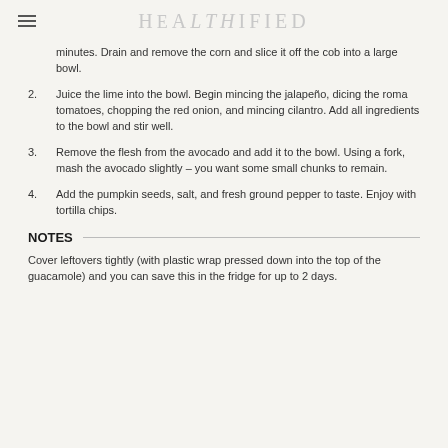HEALTHIFIED
minutes. Drain and remove the corn and slice it off the cob into a large bowl.
2. Juice the lime into the bowl. Begin mincing the jalapeño, dicing the roma tomatoes, chopping the red onion, and mincing cilantro. Add all ingredients to the bowl and stir well.
3. Remove the flesh from the avocado and add it to the bowl. Using a fork, mash the avocado slightly – you want some small chunks to remain.
4. Add the pumpkin seeds, salt, and fresh ground pepper to taste. Enjoy with tortilla chips.
NOTES
Cover leftovers tightly (with plastic wrap pressed down into the top of the guacamole) and you can save this in the fridge for up to 2 days.